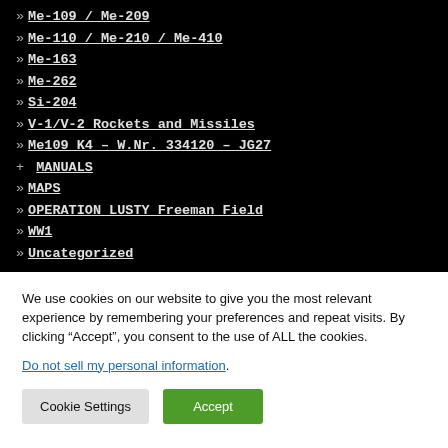» Me-109 / Me-209
» Me-110 / Me-210 / Me-410
» Me-163
» Me-262
» Si-204
» V-1/V-2 Rockets and Missiles
» Me109 K4 – W.Nr. 334120 – JG27
+ MANUALS
» MAPS
» OPERATION LUSTY Freeman Field
» WW1
» Uncategorized
We use cookies on our website to give you the most relevant experience by remembering your preferences and repeat visits. By clicking “Accept”, you consent to the use of ALL the cookies.
Do not sell my personal information.